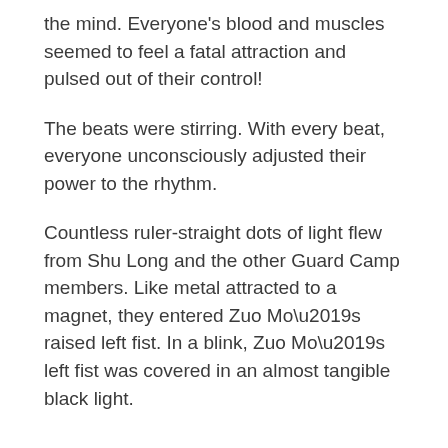the mind. Everyone's blood and muscles seemed to feel a fatal attraction and pulsed out of their control!
The beats were stirring. With every beat, everyone unconsciously adjusted their power to the rhythm.
Countless ruler-straight dots of light flew from Shu Long and the other Guard Camp members. Like metal attracted to a magnet, they entered Zuo Mo's raised left fist. In a blink, Zuo Mo's left fist was covered in an almost tangible black light.